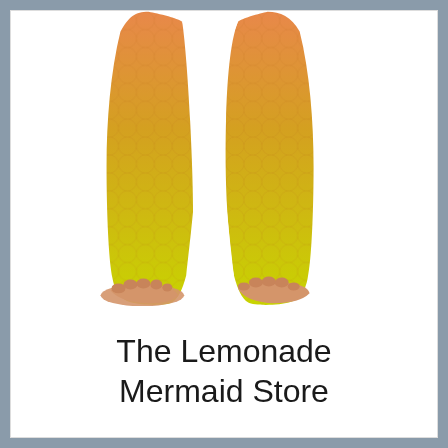[Figure (photo): Lower body photo of a person wearing yellow-orange ombre mermaid-scale patterned wide-leg pants, standing barefoot on a white background. The pants fade from orange at the top to bright yellow-green at the bottom.]
The Lemonade Mermaid Store